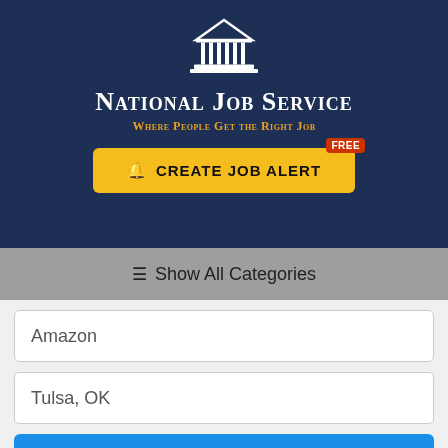[Figure (logo): White classical building/temple icon (columns and pediment) on dark navy background]
National Job Service
Where People Get the Right Job
🔔 CREATE JOB ALERT — FREE badge
≡ Show All Categories
Amazon
Tulsa, OK
🔍 Search